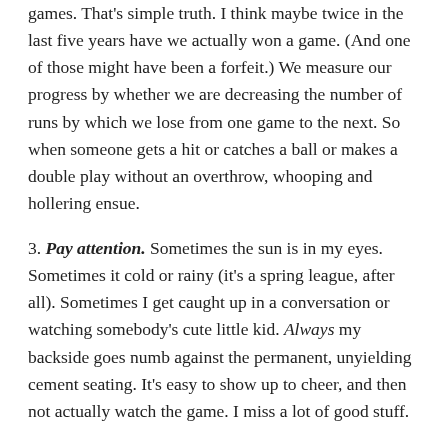games. That's simple truth. I think maybe twice in the last five years have we actually won a game. (And one of those might have been a forfeit.) We measure our progress by whether we are decreasing the number of runs by which we lose from one game to the next. So when someone gets a hit or catches a ball or makes a double play without an overthrow, whooping and hollering ensue.
3. Pay attention. Sometimes the sun is in my eyes. Sometimes it cold or rainy (it's a spring league, after all). Sometimes I get caught up in a conversation or watching somebody's cute little kid. Always my backside goes numb against the permanent, unyielding cement seating. It's easy to show up to cheer, and then not actually watch the game. I miss a lot of good stuff.
4. Don't mind the score. Somebody up in a little box flips red and blue cards to show the score. Maybe players can see them from the field, but spectators